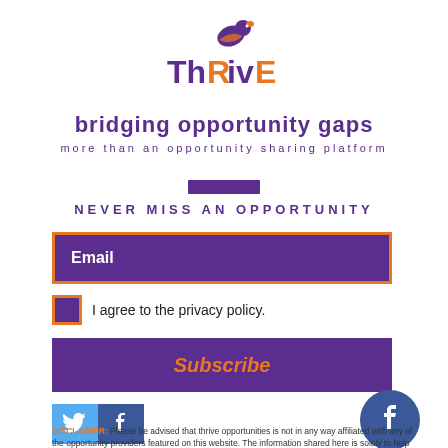[Figure (logo): ThRivE logo with stylized bird above text. 'Th' in purple, 'R' in orange, 'iv' in purple, 'E' in orange. Bird silhouette above in purple/orange.]
bridging opportunity gaps
more than an opportunity sharing platform
NEVER MISS AN OPPORTUNITY
Email
I agree to the privacy policy.
Subscribe
[Figure (logo): Twitter and Facebook social media icons side by side]
[Figure (logo): Facebook circular icon button]
DISCLAIMER: Please be advised that thrive opportunities is not in any way affiliated with any of the opportunity providers featured on this website. The information shared here is solely to help "bridge opportunity gaps"